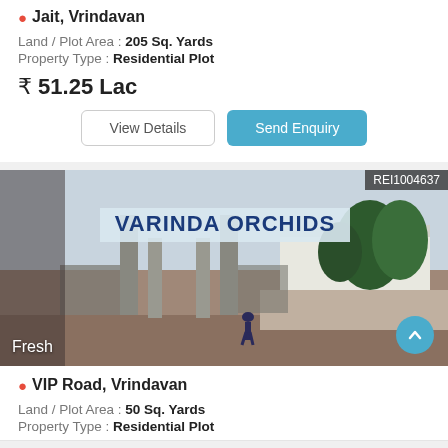Jait, Vrindavan
Land / Plot Area : 205 Sq. Yards
Property Type : Residential Plot
₹ 51.25 Lac
View Details
Send Enquiry
[Figure (photo): Entrance gate of Varinda Orchids property with a banner reading VARINDA ORCHIDS, a person walking through the gate, white building visible in background, trees on right side. Badge showing REI1004637 in top right. Fresh label in bottom left.]
VIP Road, Vrindavan
Land / Plot Area : 50 Sq. Yards
Property Type : Residential Plot